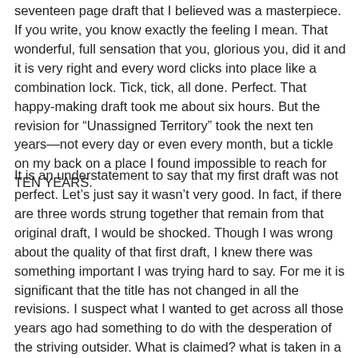seventeen page draft that I believed was a masterpiece. If you write, you know exactly the feeling I mean. That wonderful, full sensation that you, glorious you, did it and it is very right and every word clicks into place like a combination lock. Tick, tick, all done. Perfect. That happy-making draft took me about six hours. But the revision for “Unassigned Territory” took the next ten years—not every day or even every month, but a tickle on my back on a place I found impossible to reach for TEN YEARS.
It is an understatement to say that my first draft was not perfect. Let’s just say it wasn’t very good. In fact, if there are three words strung together that remain from that original draft, I would be shocked. Though I was wrong about the quality of that first draft, I knew there was something important I was trying hard to say. For me it is significant that the title has not changed in all the revisions. I suspect what I wanted to get across all those years ago had something to do with the desperation of the striving outsider. What is claimed? what is taken in a person? in a life? and what can you, if you have the courage or stupidity, claim for yourself? The girl I wanted to be, still want to be: included, safe and